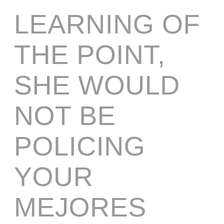LEARNING OF THE POINT, SHE WOULD NOT BE POLICING YOUR MEJORES APLICACIONES DE CITAS DE PUEBLO CONCLUSION, SHE ACTUALLY IS (POTENTIALLY) TO